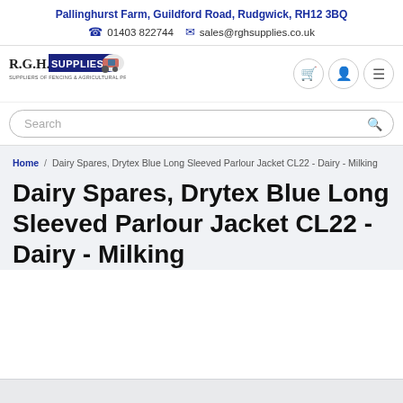Pallinghurst Farm, Guildford Road, Rudgwick, RH12 3BQ  ☎ 01403 822744  ✉ sales@rghsupplies.co.uk
[Figure (logo): R.G.H. Supplies Ltd logo with tractor illustration. Text reads R.G.H. SUPPLIES LTD - Suppliers of Fencing & Agricultural Products]
Search
Home / Dairy Spares, Drytex Blue Long Sleeved Parlour Jacket CL22 - Dairy - Milking
Dairy Spares, Drytex Blue Long Sleeved Parlour Jacket CL22 - Dairy - Milking